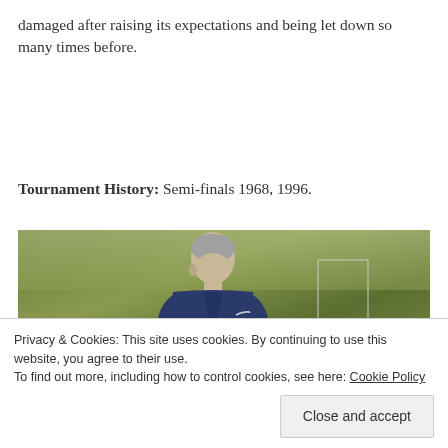damaged after raising its expectations and being let down so many times before.
Tournament History: Semi-finals 1968, 1996.
[Figure (photo): Photograph of a grey-haired older man in a dark blue Nike tracksuit jacket, standing outdoors on what appears to be a training pitch with green grass and blurred background. Likely a football manager.]
Privacy & Cookies: This site uses cookies. By continuing to use this website, you agree to their use.
To find out more, including how to control cookies, see here: Cookie Policy
Close and accept